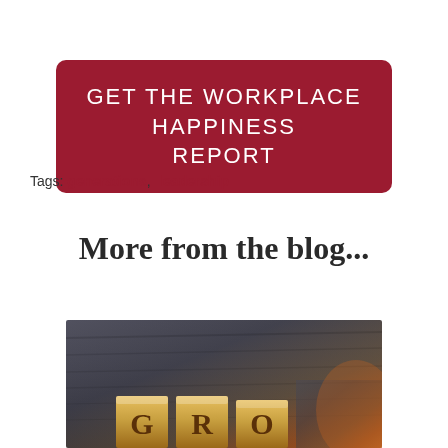GET THE WORKPLACE HAPPINESS REPORT
Tags: generations, leadership
More from the blog...
[Figure (photo): Photo showing wooden background with large golden block letters spelling out text, partially visible at the bottom of the image.]